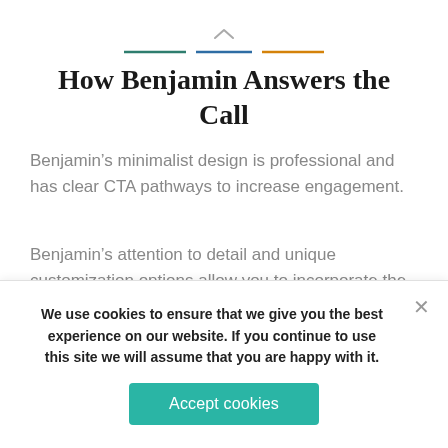[Figure (other): Decorative top element: a small upward chevron icon above three colored horizontal lines (dark teal/green, blue, orange)]
How Benjamin Answers the Call
Benjamin's minimalist design is professional and has clear CTA pathways to increase engagement.
Benjamin's attention to detail and unique customization options allow you to incorporate the elements you need, no matter what area of the corporate realm you operate in.
We use cookies to ensure that we give you the best experience on our website. If you continue to use this site we will assume that you are happy with it.